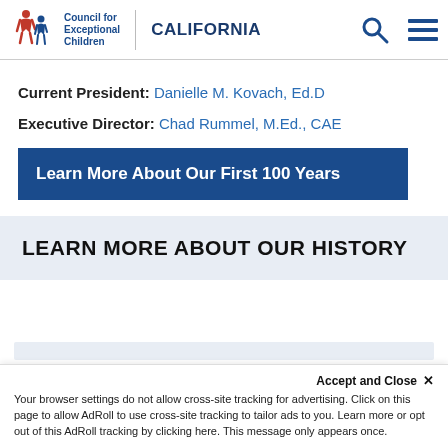Council for Exceptional Children | CALIFORNIA
Current President: Danielle M. Kovach, Ed.D
Executive Director: Chad Rummel, M.Ed., CAE
Learn More About Our First 100 Years
LEARN MORE ABOUT OUR HISTORY
Accept and Close ×
Your browser settings do not allow cross-site tracking for advertising. Click on this page to allow AdRoll to use cross-site tracking to tailor ads to you. Learn more or opt out of this AdRoll tracking by clicking here. This message only appears once.